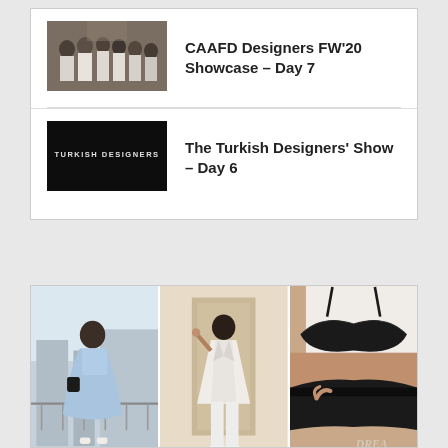[Figure (screenshot): List card with two items: 1) Thumbnail of fashion show backstage crowd in white outfits, title: CAAFD Designers FW'20 Showcase – Day 7. 2) Thumbnail with black background and white text TURKISH DESIGNERS, title: The Turkish Designers' Show – Day 6.]
CAAFD Designers FW’20 Showcase – Day 7
The Turkish Designers' Show – Day 6
[Figure (photo): Three fashion photos side by side: left - woman in light blue dress on rooftop balcony; center - woman in white blazer suit against wall; right - close-up of black lingerie set with text DREA your m partially visible.]